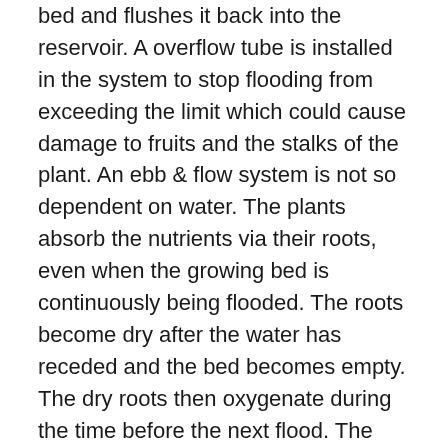bed and flushes it back into the reservoir. A overflow tube is installed in the system to stop flooding from exceeding the limit which could cause damage to fruits and the stalks of the plant. An ebb & flow system is not so dependent on water. The plants absorb the nutrients via their roots, even when the growing bed is continuously being flooded. The roots become dry after the water has receded and the bed becomes empty. The dry roots then oxygenate during the time before the next flood. The length of interval between floods is determined by the dimensions of your garden bed as well as the size of your plants.
One of the most common hydroponic gardening methods is the ebb and flow system (also known as flood and drain). The high levels of oxygen and nutrition the plants are supplied with allows for rapid